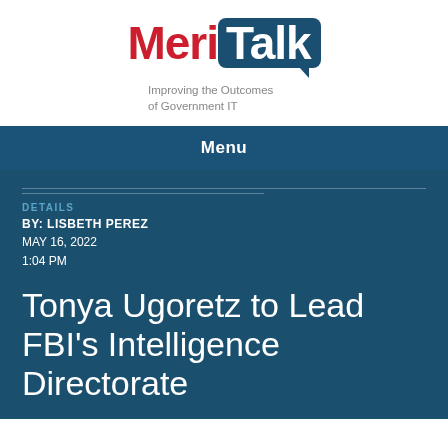[Figure (logo): MeriTalk logo with red 'Meri' text and white 'Talk' text on dark blue speech bubble background, tagline reads 'Improving the Outcomes of Government IT']
Menu
DETAILS
BY: LISBETH PEREZ
MAY 16, 2022
1:04 PM
Tonya Ugoretz to Lead FBI's Intelligence Directorate